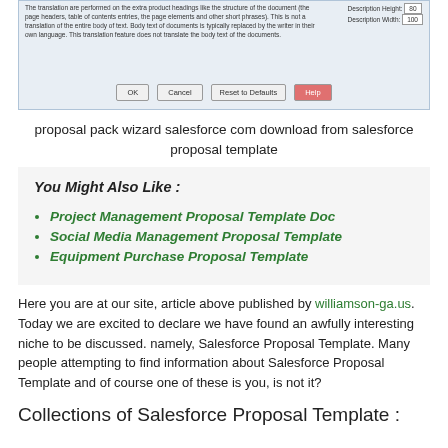[Figure (screenshot): Screenshot of a software dialog box showing text description fields and buttons (OK, Cancel, Reset to Defaults, Help)]
proposal pack wizard salesforce com download from salesforce proposal template
You Might Also Like :
Project Management Proposal Template Doc
Social Media Management Proposal Template
Equipment Purchase Proposal Template
Here you are at our site, article above published by williamson-ga.us. Today we are excited to declare we have found an awfully interesting niche to be discussed. namely, Salesforce Proposal Template. Many people attempting to find information about Salesforce Proposal Template and of course one of these is you, is not it?
Collections of Salesforce Proposal Template :